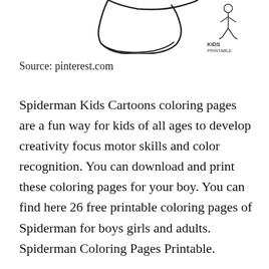[Figure (illustration): Partial view of coloring page illustrations at the top: a cartoon outline on the left and a small figure with 'Kids Printable' text on the right]
Source: pinterest.com
Spiderman Kids Cartoons coloring pages are a fun way for kids of all ages to develop creativity focus motor skills and color recognition. You can download and print these coloring pages for your boy. You can find here 26 free printable coloring pages of Spiderman for boys girls and adults. Spiderman Coloring Pages Printable.